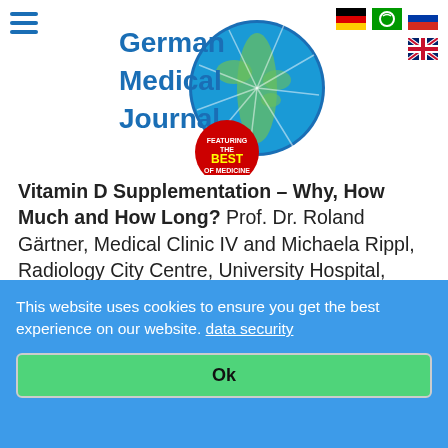[Figure (logo): German Medical Journal logo with globe graphic and 'Best of Medicine' badge]
Vitamin D Supplementation – Why, How Much and How Long? Prof. Dr. Roland Gärtner, Medical Clinic IV and Michaela Rippl, Radiology City Centre, University Hospital, LMU Munich. German Medical Journal No. 27, 1/21, page 83 - 93
This website uses cookies to ensure you get the best experience on our website. data security
Ok